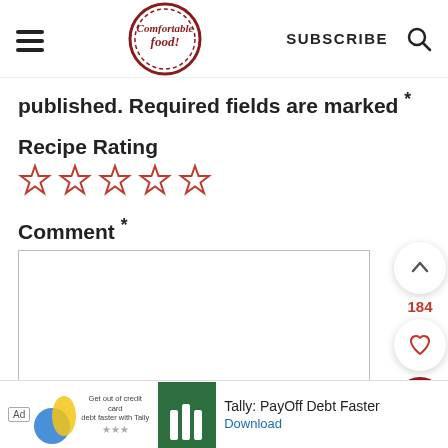[Figure (logo): Comfortable Food logo – circular red seal with script text]
published. Required fields are marked *
Recipe Rating
[Figure (other): Five empty red star rating icons]
Comment *
[Figure (screenshot): Comment text input box (empty)]
[Figure (other): Floating UI buttons: up arrow, 184 count, heart, red search button]
[Figure (other): Ad banner: Ad label, blue/yellow blob, Tally logo, 'Tally: PayOff Debt Faster', Download link]